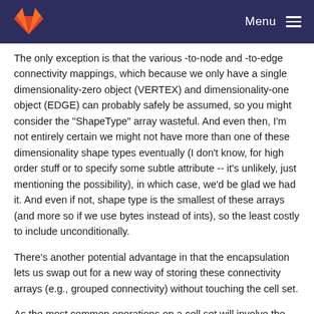Menu
The only exception is that the various -to-node and -to-edge connectivity mappings, which because we only have a single dimensionality-zero object (VERTEX) and dimensionality-one object (EDGE) can probably safely be assumed, so you might consider the "ShapeType" array wasteful. And even then, I'm not entirely certain we might not have more than one of these dimensionality shape types eventually (I don't know, for high order stuff or to specify some subtle attribute -- it's unlikely, just mentioning the possibility), in which case, we'd be glad we had it. And even if not, shape type is the smallest of these arrays (and more so if we use bytes instead of ints), so the least costly to include unconditionally.
There's another potential advantage in that the encapsulation lets us swap out for a new way of storing these connectivity arrays (e.g., grouped connectivity) without touching the cell set.
As the most common operations on a cell set will involve the canonical node-to-cell mapping type, I understand why that